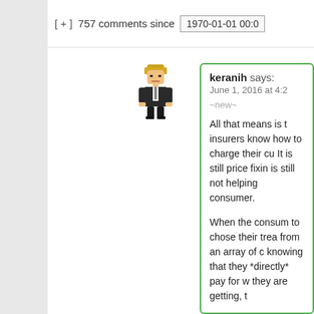[ + ]  757 comments since  1970-01-01 00:0
[Figure (illustration): Pixel art avatar of a person with blonde hair wearing a dark suit]
keranih says:
June 1, 2016 at 4:2
~new~
All that means is t insurers know how to charge their cu It is still price fixin is still not helping consumer.
When the consum to chose their trea from an array of c knowing that they *directly* pay for w they are getting, t